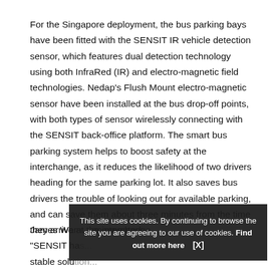For the Singapore deployment, the bus parking bays have been fitted with the SENSIT IR vehicle detection sensor, which features dual detection technology using both InfraRed (IR) and electro-magnetic field technologies. Nedap's Flush Mount electro-magnetic sensor have been installed at the bus drop-off points, with both types of sensor wirelessly connecting with the SENSIT back-office platform. The smart bus parking system helps to boost safety at the interchange, as it reduces the likelihood of two drivers heading for the same parking lot. It also saves bus drivers the trouble of looking out for available parking, and can save them about three minutes from the time they arrive at the interchange.
James War... commented, "SENSIT ha... stable solu...
This site uses cookies. By continuing to browse the site you are agreeing to our use of cookies. Find out more here   [X]